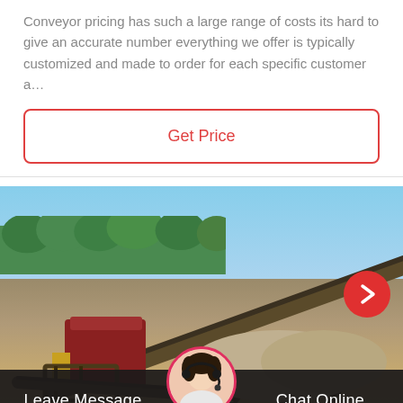Conveyor pricing has such a large range of costs its hard to give an accurate number everything we offer is typically customized and made to order for each specific customer a…
Get Price
[Figure (photo): Outdoor industrial conveyor belt system at a mining or quarrying site. Large metal conveyor structures with rollers and belts are visible, along with a red metal hopper/crusher unit, piles of aggregate/stone, trees in the background, and a clear blue sky. A red circular navigation arrow button is visible on the right side.]
Leave Message
Chat Online